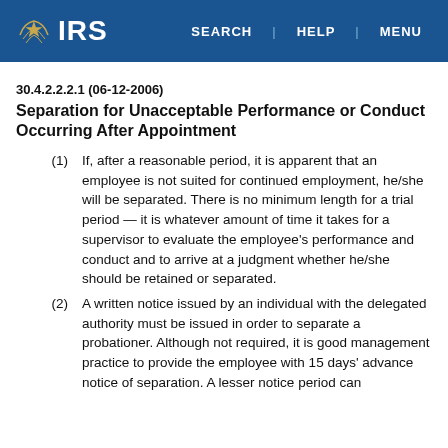IRS | SEARCH | HELP | MENU
30.4.2.2.2.1 (06-12-2006)
Separation for Unacceptable Performance or Conduct Occurring After Appointment
(1) If, after a reasonable period, it is apparent that an employee is not suited for continued employment, he/she will be separated. There is no minimum length for a trial period — it is whatever amount of time it takes for a supervisor to evaluate the employee's performance and conduct and to arrive at a judgment whether he/she should be retained or separated.
(2) A written notice issued by an individual with the delegated authority must be issued in order to separate a probationer. Although not required, it is good management practice to provide the employee with 15 days' advance notice of separation. A lesser notice period can